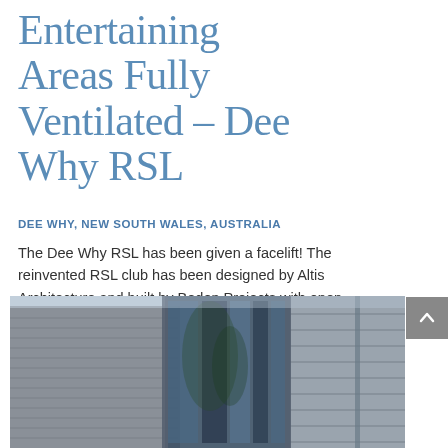Entertaining Areas Fully Ventilated – Dee Why RSL
DEE WHY, NEW SOUTH WALES, AUSTRALIA
The Dee Why RSL has been given a facelift! The reinvented RSL club has been designed by Altis Architecture and built by Boden Projects with open spaces and international style to provide entertainment and services to more than 50,000 members.
[Figure (photo): Exterior photograph of the Dee Why RSL building showing a modern architectural facade with glass panels and horizontal louvres/fins, reflecting surrounding trees and sky.]